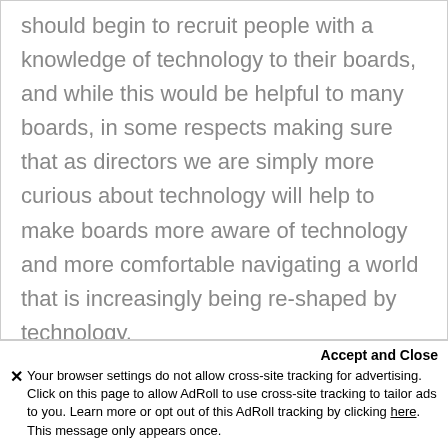should begin to recruit people with a knowledge of technology to their boards, and while this would be helpful to many boards, in some respects making sure that as directors we are simply more curious about technology will help to make boards more aware of technology and more comfortable navigating a world that is increasingly being re-shaped by technology.
Accept and Close
✕ Your browser settings do not allow cross-site tracking for advertising. Click on this page to allow AdRoll to use cross-site tracking to tailor ads to you. Learn more or opt out of this AdRoll tracking by clicking here. This message only appears once.